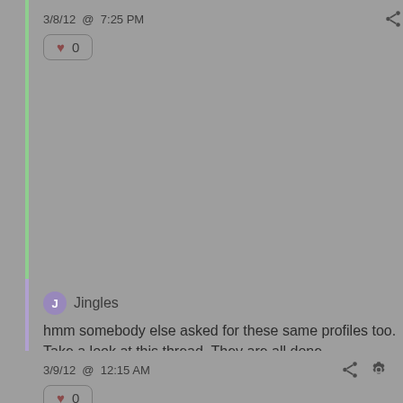3/8/12 @ 7:25 PM
[Figure (other): Like button with heart icon showing count 0]
J Jingles
hmm somebody else asked for these same profiles too. Take a look at this thread. They are all done. http://forums.americandj.com/e...110033546#21100 33546
Let me know if you have anymore questions.
sorry for the delay.
Sincerely,
3/9/12 @ 12:15 AM
[Figure (other): Like button with heart icon showing count 0]